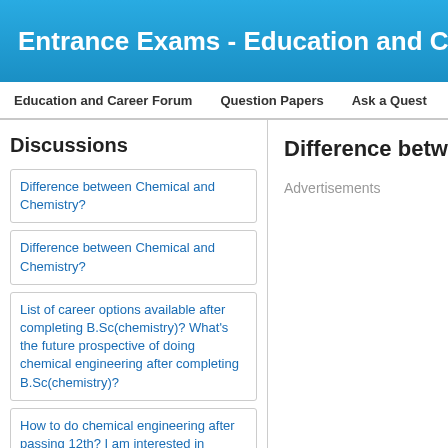Entrance Exams - Education and Care
Education and Career Forum | Question Papers | Ask a Quest
Discussions
Difference between Chemi
Advertisements
Difference between Chemical and Chemistry?
Difference between Chemical and Chemistry?
List of career options available after completing B.Sc(chemistry)? What's the future prospective of doing chemical engineering after completing B.Sc(chemistry)?
How to do chemical engineering after passing 12th? I am interested in Chemistry
Job opportunities for Girls in Chemical Engineering? Syllabus of the B.Tech Chemical Engineering in Kerala University?